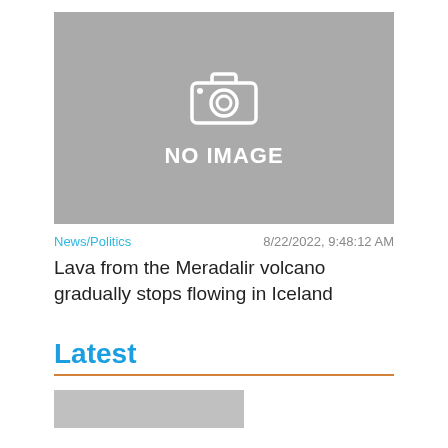[Figure (photo): Gray placeholder image with camera icon and 'NO IMAGE' text]
News/Politics	8/22/2022, 9:48:12 AM
Lava from the Meradalir volcano gradually stops flowing in Iceland
Latest
[Figure (photo): Gray placeholder thumbnail at bottom of page]